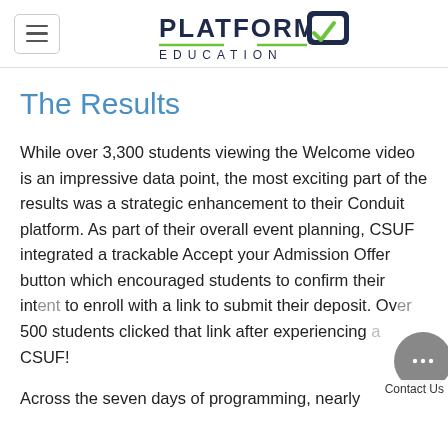[Figure (logo): Platform Q Education logo with hamburger menu icon]
The Results
While over 3,300 students viewing the Welcome video is an impressive data point, the most exciting part of the results was a strategic enhancement to their Conduit platform. As part of their overall event planning, CSUF integrated a trackable Accept your Admission Offer button which encouraged students to confirm their intent to enroll with a link to submit their deposit. Over 500 students clicked that link after experiencing CSUF!
Across the seven days of programming, nearly